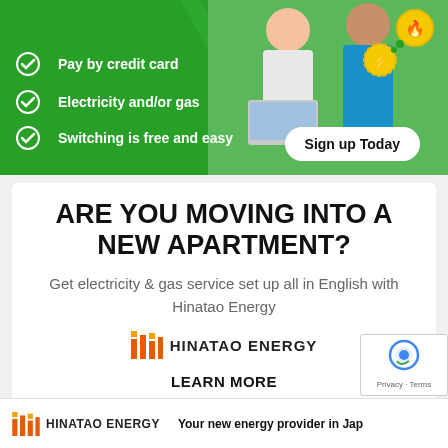[Figure (infographic): Green banner advertisement with photo of people and energy icons. Contains checklist items and Sign up Today button.]
Pay by credit card
Electricity and/or gas
Switching is free and easy
ARE YOU MOVING INTO A NEW APARTMENT?
Get electricity & gas service set up all in English with Hinatao Energy
[Figure (logo): Hinatao Energy logo with colored bar icon and text HINATAO ENERGY]
LEARN MORE
HINATAO ENERGY    Your new energy provider in Jap...